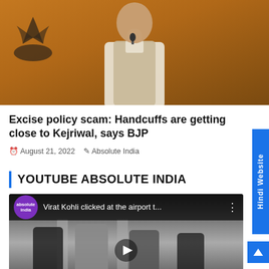[Figure (photo): A man in a white kurta/waistcoat at a BJP press conference, with the BJP lotus symbol visible on an orange backdrop in the background.]
Excise policy scam: Handcuffs are getting close to Kejriwal, says BJP
August 21, 2022  Absolute India
YOUTUBE ABSOLUTE INDIA
[Figure (screenshot): YouTube video thumbnail showing 'Virat Kohli clicked at the airport t...' with the Absolute India channel logo and people at an airport.]